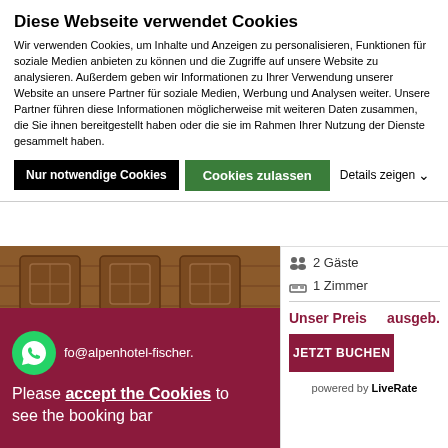Diese Webseite verwendet Cookies
Wir verwenden Cookies, um Inhalte und Anzeigen zu personalisieren, Funktionen für soziale Medien anbieten zu können und die Zugriffe auf unsere Website zu analysieren. Außerdem geben wir Informationen zu Ihrer Verwendung unserer Website an unsere Partner für soziale Medien, Werbung und Analysen weiter. Unsere Partner führen diese Informationen möglicherweise mit weiteren Daten zusammen, die Sie ihnen bereitgestellt haben oder die sie im Rahmen Ihrer Nutzung der Dienste gesammelt haben.
Nur notwendige Cookies | Cookies zulassen | Details zeigen
[Figure (photo): Photo of a wooden sauna interior with a bucket, ladle, and wooden benches]
2 Gäste
1 Zimmer
Unser Preis    ausgeb.
JETZT BUCHEN
powered by LiveRate
fo@alpenhotel-fischer.
Please accept the Cookies to see the booking bar